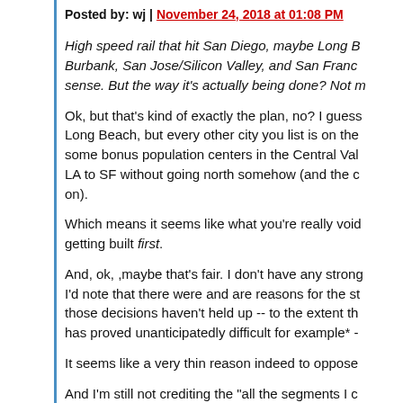Posted by: wj | November 24, 2018 at 01:08 PM
High speed rail that hit San Diego, maybe Long Beach, Burbank, San Jose/Silicon Valley, and San Francisco would make sense. But the way it's actually being done? Not much.
Ok, but that's kind of exactly the plan, no? I guess not Long Beach, but every other city you list is on the plan plus some bonus population centers in the Central Valley. You can't go LA to SF without going north somehow (and the can go on).
Which means it seems like what you're really voicing is getting built first.
And, ok, ,maybe that's fair. I don't have any strong view. I'd note that there were and are reasons for the state, and those decisions haven't held up -- to the extent that the state has proved unanticipatedly difficult for example* -
It seems like a very thin reason indeed to oppose
And I'm still not crediting the "all the segments I another 10 years, if it doesn't all get canceled first